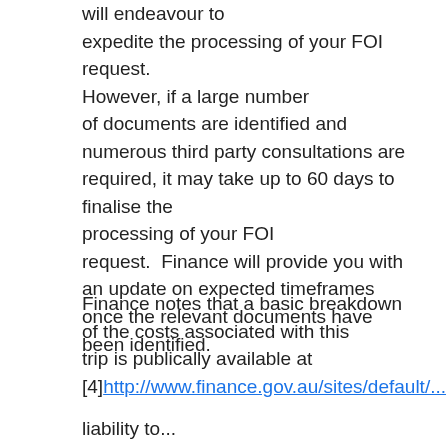will endeavour to expedite the processing of your FOI request. However, if a large number of documents are identified and numerous third party consultations are required, it may take up to 60 days to finalise the processing of your FOI request.  Finance will provide you with an update on expected timeframes once the relevant documents have been identified.
Finance notes that a basic breakdown of the costs associated with this trip is publically available at [4]http://www.finance.gov.au/sites/default/...
liability to...